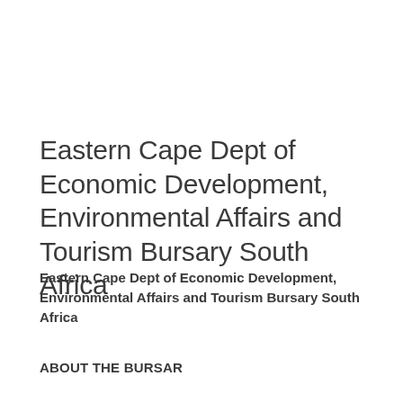Eastern Cape Dept of Economic Development, Environmental Affairs and Tourism Bursary South Africa
Eastern Cape Dept of Economic Development, Environmental Affairs and Tourism Bursary South Africa
ABOUT THE BURSAR